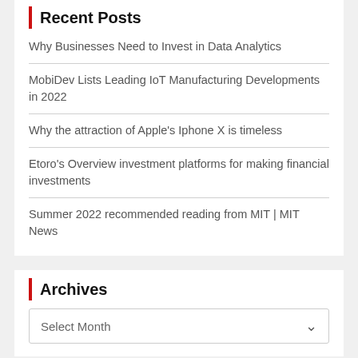Recent Posts
Why Businesses Need to Invest in Data Analytics
MobiDev Lists Leading IoT Manufacturing Developments in 2022
Why the attraction of Apple's Iphone X is timeless
Etoro's Overview investment platforms for making financial investments
Summer 2022 recommended reading from MIT | MIT News
Archives
Select Month